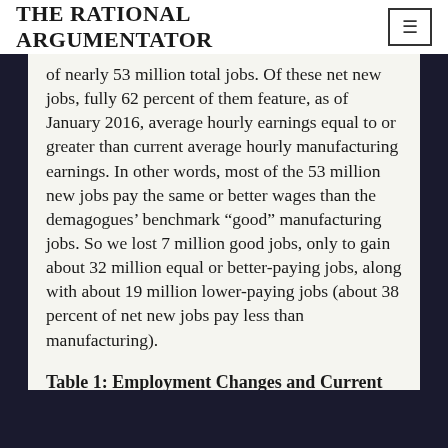THE RATIONAL ARGUMENTATOR
of nearly 53 million total jobs. Of these net new jobs, fully 62 percent of them feature, as of January 2016, average hourly earnings equal to or greater than current average hourly manufacturing earnings. In other words, most of the 53 million new jobs pay the same or better wages than the demagogues' benchmark “good” manufacturing jobs. So we lost 7 million good jobs, only to gain about 32 million equal or better-paying jobs, along with about 19 million lower-paying jobs (about 38 percent of net new jobs pay less than manufacturing).
Table 1: Employment Changes and Current Earnings by Sector